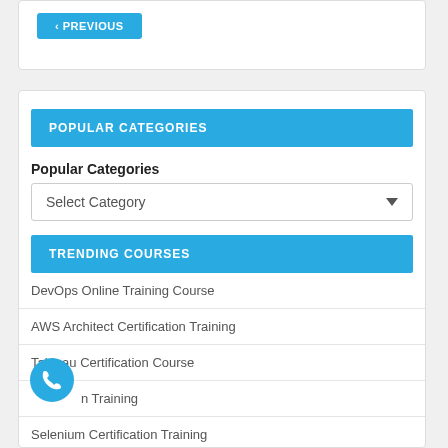< PREVIOUS
POPULAR CATEGORIES
Popular Categories
Select Category
TRENDING COURSES
DevOps Online Training Course
AWS Architect Certification Training
Tableau Certification Course
n Training
Selenium Certification Training